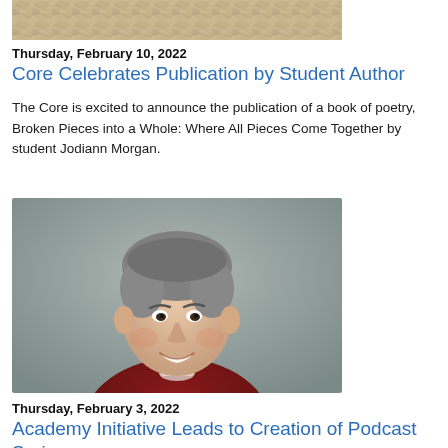[Figure (photo): Top portion of a book cover with snakeskin/textured pattern in beige and gray]
Thursday, February 10, 2022
Core Celebrates Publication by Student Author
The Core is excited to announce the publication of a book of poetry, Broken Pieces into a Whole: Where All Pieces Come Together by student Jodiann Morgan.
[Figure (photo): Professional headshot of a middle-aged man with gray hair, smiling, wearing a dark red/maroon polo shirt against a gray background]
Thursday, February 3, 2022
Academy Initiative Leads to Creation of Podcast Series
An initiative of Seton Hall's Institute for Communication and Religion, CORECast will explore topics taught in Core I